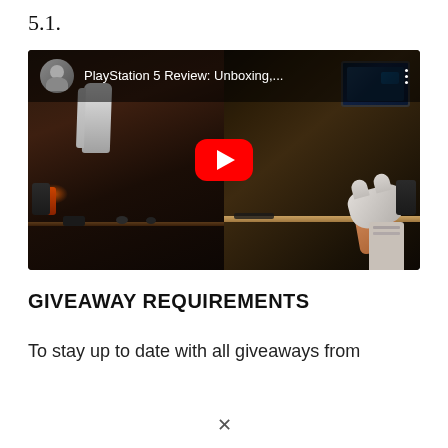5.1.
[Figure (screenshot): YouTube video thumbnail showing 'PlayStation 5 Review: Unboxing,...' with a split scene: left side shows a PS5 console on a dark desk setup, right side shows a hand holding a DualSense controller at a desk with monitors. A red YouTube play button overlay is centered. A YouTube-style top bar shows a user avatar and the video title.]
GIVEAWAY REQUIREMENTS
To stay up to date with all giveaways from